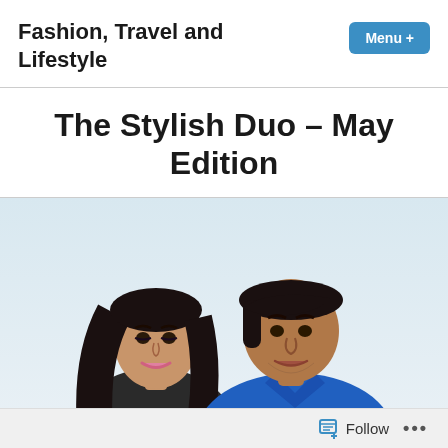Fashion, Travel and Lifestyle
The Stylish Duo – May Edition
[Figure (photo): A young couple posing for a photo outdoors against a light sky background. A woman with long dark hair and makeup is on the left; a man in a blue collared shirt is on the right.]
Follow ...